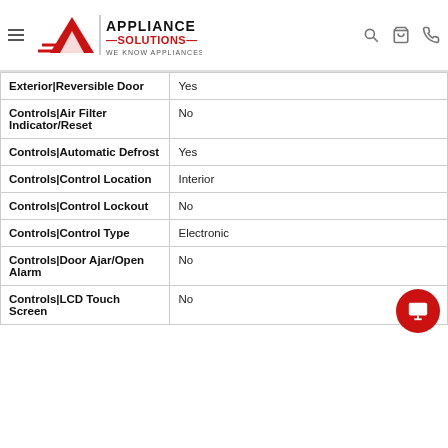Appliance Solutions — We Know Appliances
| Feature | Value |
| --- | --- |
| Exterior|Reversible Door | Yes |
| Controls|Air Filter Indicator/Reset | No |
| Controls|Automatic Defrost | Yes |
| Controls|Control Location | Interior |
| Controls|Control Lockout | No |
| Controls|Control Type | Electronic |
| Controls|Door Ajar/Open Alarm | No |
| Controls|LCD Touch Screen | No |